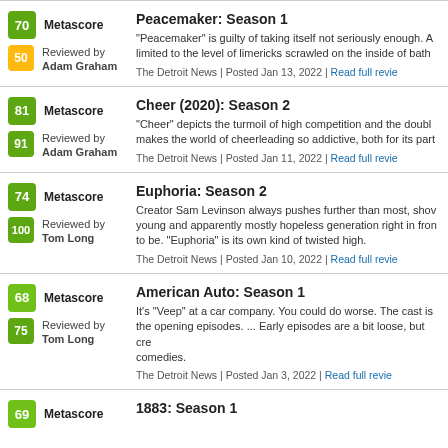Peacemaker: Season 1 | Metascore 70 | Reviewed by Adam Graham score 50 | "Peacemaker" is guilty of taking itself not seriously enough. A limited to the level of limericks scrawled on the inside of bath | The Detroit News | Posted Jan 13, 2022 | Read full review
Cheer (2020): Season 2 | Metascore 81 | Reviewed by Adam Graham score 91 | "Cheer" depicts the turmoil of high competition and the doubl makes the world of cheerleading so addictive, both for its part | The Detroit News | Posted Jan 11, 2022 | Read full review
Euphoria: Season 2 | Metascore 74 | Reviewed by Tom Long score 100 | Creator Sam Levinson always pushes further than most, show young and apparently mostly hopeless generation right in fron to be. "Euphoria" is its own kind of twisted high. | The Detroit News | Posted Jan 10, 2022 | Read full review
American Auto: Season 1 | Metascore 68 | Reviewed by Tom Long score 75 | It's "Veep" at a car company. You could do worse. The cast is the opening episodes. ... Early episodes are a bit loose, but cre comedies. | The Detroit News | Posted Jan 3, 2022 | Read full review
1883: Season 1 | Metascore 69